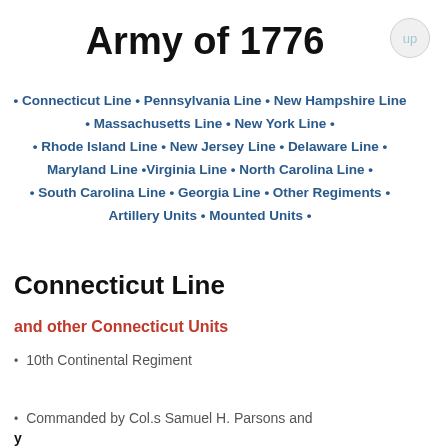Army of 1776
• Connecticut Line • Pennsylvania Line • New Hampshire Line • Massachusetts Line • New York Line • • Rhode Island Line • New Jersey Line • Delaware Line • Maryland Line •Virginia Line • North Carolina Line • • South Carolina Line • Georgia Line • Other Regiments • Artillery Units • Mounted Units •
Connecticut Line
and other Connecticut Units
10th Continental Regiment
Commanded by Col.s Samuel H. Parsons and
y